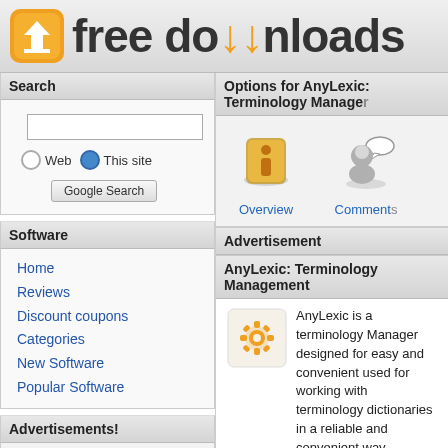[Figure (logo): Free downloads website logo with orange download icon and 'free downloads' text in dark gray]
Search
[Figure (screenshot): Search box with Web and This site radio buttons, and Google Search button]
Software
Home
Reviews
Discount coupons
Categories
New Software
Popular Software
Advertisements!
Options for AnyLexic: Terminology Manager
[Figure (illustration): Overview icon - information symbol in orange/gold colors]
Overview
[Figure (illustration): Comments icon - person with speech bubble]
Comments
Advertisement
AnyLexic: Terminology Management
[Figure (illustration): AnyLexic gear/settings icon in orange]
AnyLexic is a terminology Manager designed for easy and convenient used for working with terminology dictionaries in a reliable and convenient way. Manage terminology dictionaries in a reli...